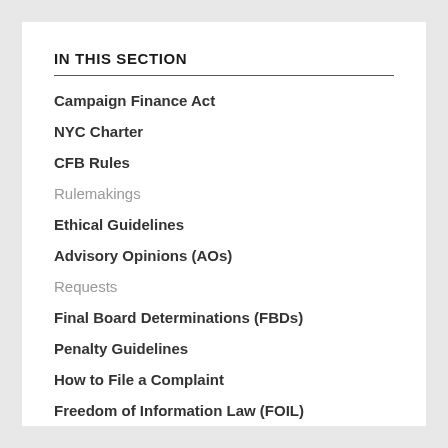IN THIS SECTION
Campaign Finance Act
NYC Charter
CFB Rules
Rulemakings
Ethical Guidelines
Advisory Opinions (AOs)
Requests
Final Board Determinations (FBDs)
Penalty Guidelines
How to File a Complaint
Freedom of Information Law (FOIL)